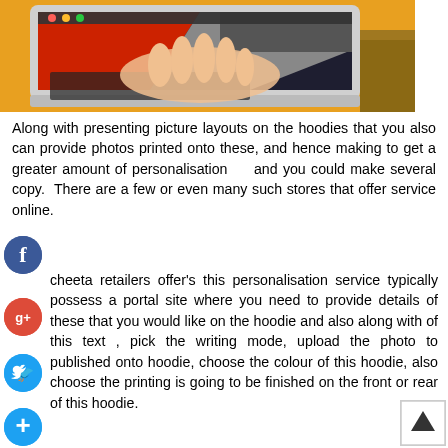[Figure (photo): Person typing on a MacBook laptop, with the laptop screen visible showing a design with red and dark colors. The laptop is on a wooden surface with an orange/yellow background.]
Along with presenting picture layouts on the hoodies that you also can provide photos printed onto these, and hence making to get a greater amount of personalisation   and you could make several copy.  There are a few or even many such stores that offer service online.
cheeta retailers offer's this personalisation service typically possess a portal site where you need to provide details of these that you would like on the hoodie and also along with of this text , pick the writing mode, upload the photo to published onto hoodie, choose the colour of this hoodie, also choose the printing is going to be finished on the front or rear of this hoodie.